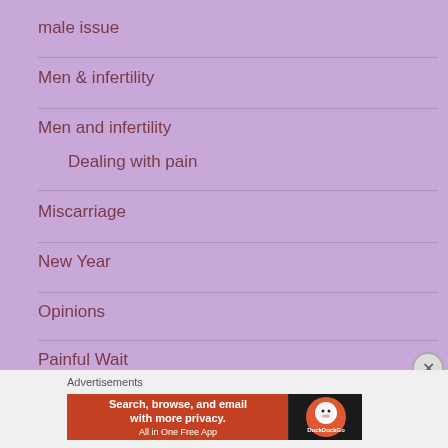male issue
Men & infertility
Men and infertility
Dealing with pain
Miscarriage
New Year
Opinions
Painful Wait
pregnancy
Advertisements
[Figure (screenshot): DuckDuckGo advertisement banner: Search, browse, and email with more privacy. All in One Free App]